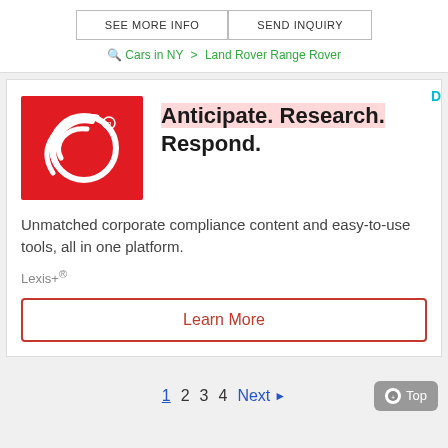SEE MORE INFO | SEND INQUIRY
Cars in NY > Land Rover Range Rover
[Figure (logo): Kroll logo - red square background with white circular swoosh design]
Anticipate. Research. Respond.
Unmatched corporate compliance content and easy-to-use tools, all in one platform.
Lexis+®
Learn More
1 2 3 4 Next ▶
⊕ Top